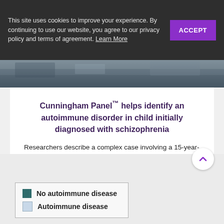This site uses cookies to improve your experience. By continuing to use our website, you agree to our privacy policy and terms of agreement. Learn More
[Figure (photo): Partial view of a dark outdoor scene, image strip at top of page]
Cunningham Panel™ helps identify an autoimmune disorder in child initially diagnosed with schizophrenia
Researchers describe a complex case involving a 15-year-old girl, who abruptly developed multiple neurologic and psychiatric symptoms.
LEARN MORE
[Figure (infographic): Legend box with two items: No autoimmune disease (dark teal square) and Autoimmune disease (light blue square)]